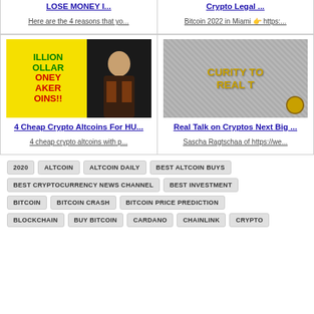LOSE MONEY I...
Here are the 4 reasons that yo...
Crypto Legal ...
Bitcoin 2022 in Miami 👉 https:...
[Figure (screenshot): Thumbnail showing colorful text ILLION OLLAR ONEY AKER OINS!! in green and red on yellow background with a person]
4 Cheap Crypto Altcoins For HU...
4 cheap crypto altcoins with p...
[Figure (screenshot): Thumbnail showing CURITY TO REAL T text in gold on mosaic/pixel background with person in black suit and bitcoin badge]
Real Talk on Cryptos Next Big ...
Sascha Ragtschaa of https://we...
2020
ALTCOIN
ALTCOIN DAILY
BEST ALTCOIN BUYS
BEST CRYPTOCURRENCY NEWS CHANNEL
BEST INVESTMENT
BITCOIN
BITCOIN CRASH
BITCOIN PRICE PREDICTION
BLOCKCHAIN
BUY BITCOIN
CARDANO
CHAINLINK
CRYPTO